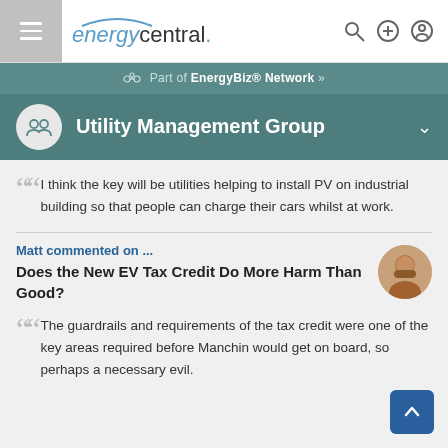energycentral.
Part of EnergyBiz® Network »
Utility Management Group
I think the key will be utilities helping to install PV on industrial building so that people can charge their cars whilst at work.
Matt commented on ...
Does the New EV Tax Credit Do More Harm Than Good?
The guardrails and requirements of the tax credit were one of the key areas required before Manchin would get on board, so perhaps a necessary evil.